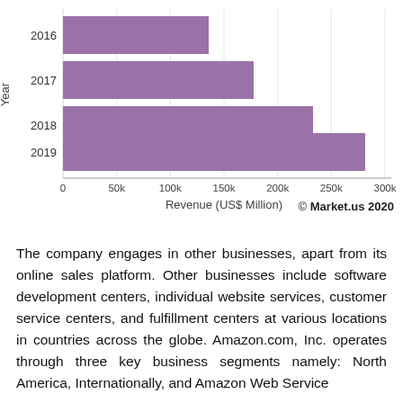[Figure (bar-chart): ]
© Market.us 2020
The company engages in other businesses, apart from its online sales platform. Other businesses include software development centers, individual website services, customer service centers, and fulfillment centers at various locations in countries across the globe. Amazon.com, Inc. operates through three key business segments namely: North America, Internationally, and Amazon Web Service (AWS).